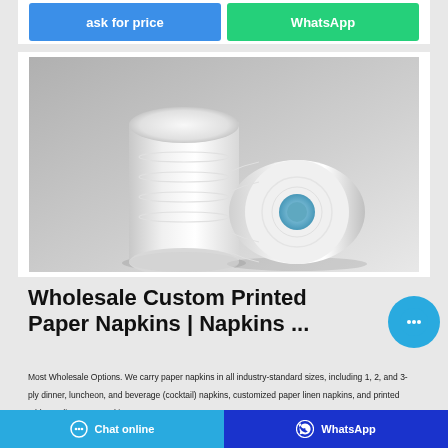[Figure (other): Two white paper/tissue rolls on a grey gradient background]
Wholesale Custom Printed Paper Napkins | Napkins ...
Most Wholesale Options. We carry paper napkins in all industry-standard sizes, including 1, 2, and 3-ply dinner, luncheon, and beverage (cocktail) napkins, customized paper linen napkins, and printed tabletop dispenser napkins. …
Chat online | WhatsApp